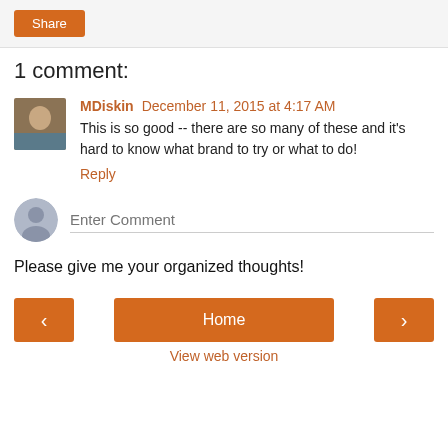[Figure (other): Orange Share button in a light gray bar]
1 comment:
[Figure (photo): User avatar photo of MDiskin, a woman]
MDiskin December 11, 2015 at 4:17 AM
This is so good -- there are so many of these and it's hard to know what brand to try or what to do!
Reply
[Figure (other): Generic gray user avatar icon with Enter Comment placeholder text input field]
Please give me your organized thoughts!
[Figure (other): Navigation bar with left arrow button, Home button, and right arrow button, all in orange]
View web version